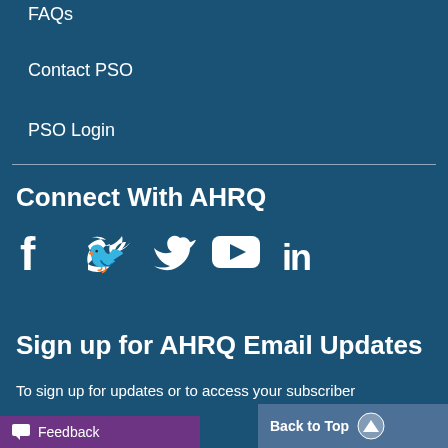FAQs
Contact PSO
PSO Login
Connect With AHRQ
[Figure (illustration): Social media icons: Facebook, Twitter, YouTube, LinkedIn]
Sign up for AHRQ Email Updates
To sign up for updates or to access your subscriber preferences, please enter your email address below.
Feedback
Back to Top